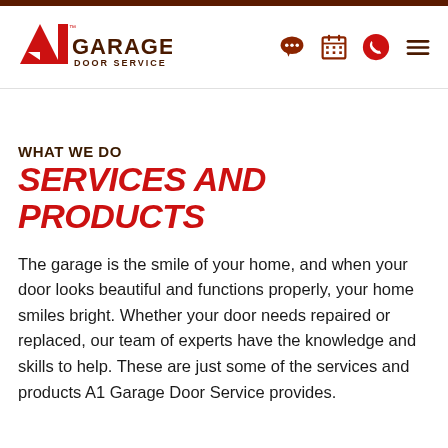[Figure (logo): A1 Garage Door Service logo with red A1 and brown GARAGE text]
WHAT WE DO
SERVICES AND PRODUCTS
The garage is the smile of your home, and when your door looks beautiful and functions properly, your home smiles bright. Whether your door needs repaired or replaced, our team of experts have the knowledge and skills to help. These are just some of the services and products A1 Garage Door Service provides.